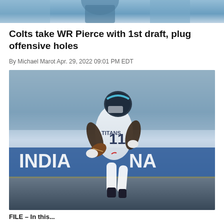[Figure (photo): Partial top image showing a person in sports attire, cropped at the top of the page]
Colts take WR Pierce with 1st draft, plug offensive holes
By Michael Marot Apr. 29, 2022 09:01 PM EDT
[Figure (photo): Tennessee Titans wide receiver #11 in white Titans uniform running with the football on field]
FILE – In this...